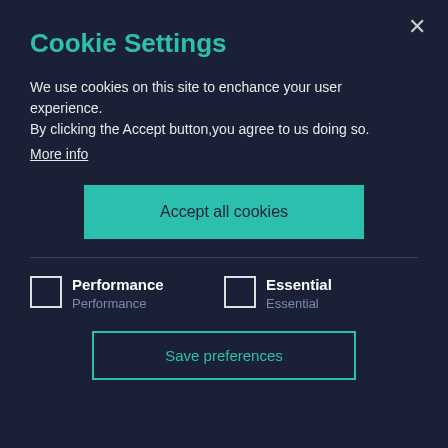Cookie Settings
We use cookies on this site to enchance your user experience.
By clicking the Accept button,you agree to us doing so.
More info
Accept all cookies
Performance
Performance
Essential
Essential
Save preferences